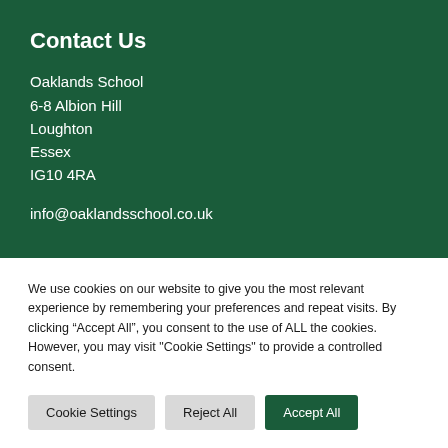Contact Us
Oaklands School
6-8 Albion Hill
Loughton
Essex
IG10 4RA
info@oaklandsschool.co.uk
We use cookies on our website to give you the most relevant experience by remembering your preferences and repeat visits. By clicking “Accept All”, you consent to the use of ALL the cookies. However, you may visit "Cookie Settings" to provide a controlled consent.
Cookie Settings | Reject All | Accept All